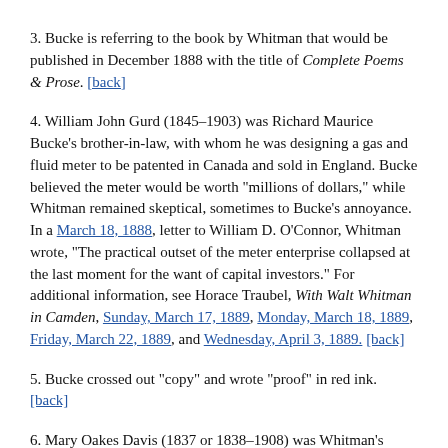3. Bucke is referring to the book by Whitman that would be published in December 1888 with the title of Complete Poems & Prose. [back]
4. William John Gurd (1845–1903) was Richard Maurice Bucke's brother-in-law, with whom he was designing a gas and fluid meter to be patented in Canada and sold in England. Bucke believed the meter would be worth "millions of dollars," while Whitman remained skeptical, sometimes to Bucke's annoyance. In a March 18, 1888, letter to William D. O'Connor, Whitman wrote, "The practical outset of the meter enterprise collapsed at the last moment for the want of capital investors." For additional information, see Horace Traubel, With Walt Whitman in Camden, Sunday, March 17, 1889, Monday, March 18, 1889, Friday, March 22, 1889, and Wednesday, April 3, 1889. [back]
5. Bucke crossed out "copy" and wrote "proof" in red ink. [back]
6. Mary Oakes Davis (1837 or 1838–1908) was Whitman's